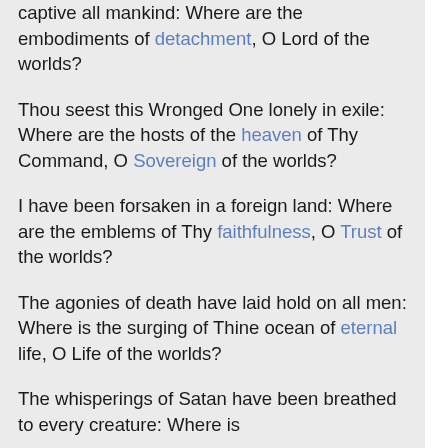captive all mankind: Where are the embodiments of detachment, O Lord of the worlds?
Thou seest this Wronged One lonely in exile: Where are the hosts of the heaven of Thy Command, O Sovereign of the worlds?
I have been forsaken in a foreign land: Where are the emblems of Thy faithfulness, O Trust of the worlds?
The agonies of death have laid hold on all men: Where is the surging of Thine ocean of eternal life, O Life of the worlds?
The whisperings of Satan have been breathed to every creature: Where is